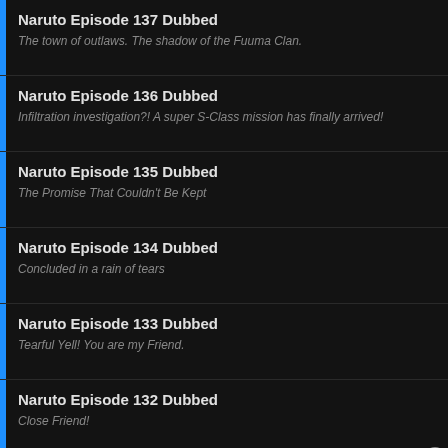Naruto Episode 137 Dubbed
The town of outlaws. The shadow of the Fuuma Clan.
Naruto Episode 136 Dubbed
Infiltration investigation?! A super S-Class mission has finally arrived!
Naruto Episode 135 Dubbed
The Promise That Couldn't Be Kept
Naruto Episode 134 Dubbed
Concluded in a rain of tears
Naruto Episode 133 Dubbed
Tearful Yell! You are my Friend.
Naruto Episode 132 Dubbed
Close Friend!
[Figure (screenshot): Wayfair advertisement banner showing Top Appliances Low Prices with a stove image and Shop now button]